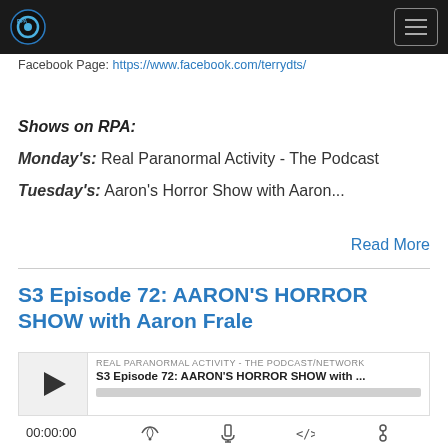RPA Podcast Network
Facebook Page: https://www.facebook.com/terrydts/
Shows on RPA:
Monday's: Real Paranormal Activity - The Podcast
Tuesday's: Aaron's Horror Show with Aaron...
Read More
S3 Episode 72: AARON'S HORROR SHOW with Aaron Frale
[Figure (other): Podcast episode player widget showing play button, episode title 'S3 Episode 72: AARON'S HORROR SHOW with ...', network label 'REAL PARANORMAL ACTIVITY - THE PODCAST/NETWORK', progress bar, time display 00:00:00 and control icons for RSS, download, embed, and another icon]